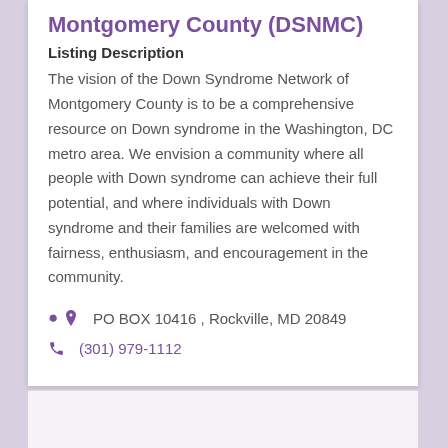Montgomery County (DSNMC)
Listing Description
The vision of the Down Syndrome Network of Montgomery County is to be a comprehensive resource on Down syndrome in the Washington, DC metro area. We envision a community where all people with Down syndrome can achieve their full potential, and where individuals with Down syndrome and their families are welcomed with fairness, enthusiasm, and encouragement in the community.
PO BOX 10416 , Rockville, MD 20849
(301) 979-1112